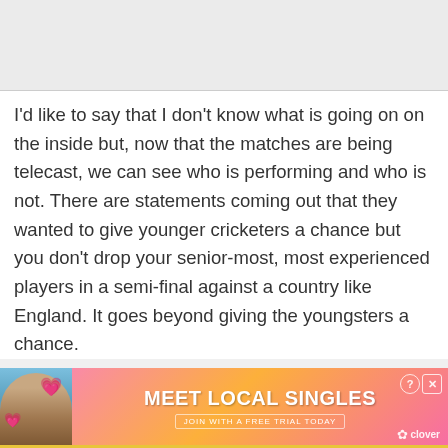I'd like to say that I don't know what is going on on the inside but, now that the matches are being telecast, we can see who is performing and who is not. There are statements coming out that they wanted to give younger cricketers a chance but you don't drop your senior-most, most experienced players in a semi-final against a country like England. It goes beyond giving the youngsters a chance.
[Figure (screenshot): Advertisement banner for 'Meet Local Singles' by Clover dating app, with gradient pink-orange background, a woman's photo on the left, hearts, and a call-to-action button.]